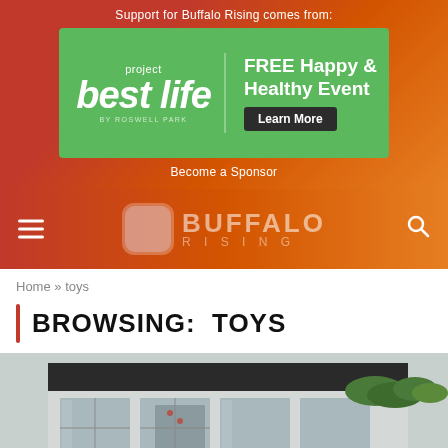Support for Buffalo Rising comes from:
[Figure (illustration): Project Best Life by Roswell Park advertisement banner — green background, white text reading 'project best life BY ROSWELL PARK', right side reads 'FREE Happy & Healthy Event' with a dark 'Learn More' button]
Become a Sponsor
[Figure (logo): Buffalo Rising logo — pink rounded square icon beside 'BUFFALO RISING' in faded white letters on orange-red gradient navigation bar, hamburger menu icon on left, search icon on right]
Home » toys
BROWSING:  TOYS
[Figure (photo): Exterior storefront photo showing a building facade with large glass windows and doors, dark awning, and green plants/ivy visible on the right side]